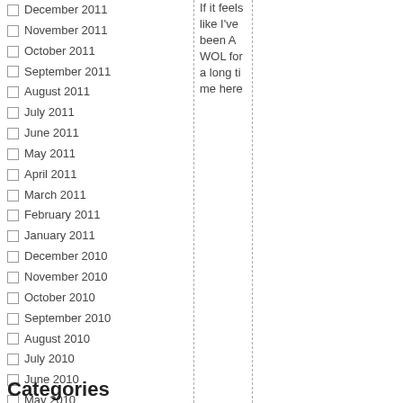December 2011
November 2011
October 2011
September 2011
August 2011
July 2011
June 2011
May 2011
April 2011
March 2011
February 2011
January 2011
December 2010
November 2010
October 2010
September 2010
August 2010
July 2010
June 2010
May 2010
April 2010
March 2010
February 2010
January 2010
January 2000
If it feels like I've been AWOL for a long time here
Categories